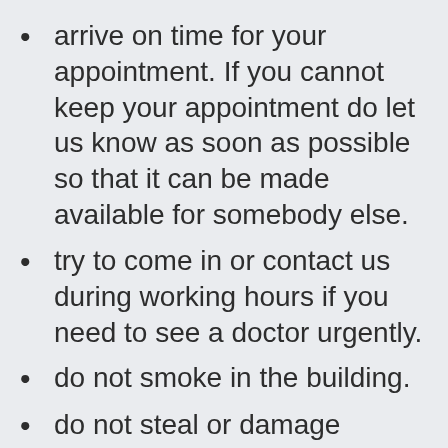arrive on time for your appointment. If you cannot keep your appointment do let us know as soon as possible so that it can be made available for somebody else.
try to come in or contact us during working hours if you need to see a doctor urgently.
do not smoke in the building.
do not steal or damage practice property.
let us know if you change your name, address or telephone number.
please keep to one patient and one problem per appointment.
book another appointment if you